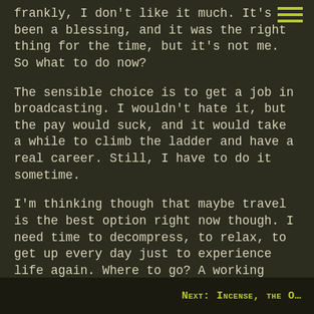frankly, I don't like it much. It's been a blessing, and it was the right thing for the time, but it's not me. So what to do now?
The sensible choice is to get a job in broadcasting. I wouldn't hate it, but the pay would suck, and it would take a while to climb the ladder and have a real career. Still, I have to do it sometime.
I'm thinking though that maybe travel is the best option right now though. I need time to decompress, to relax, to get up every day just to experience life again. Where to go? A working holiday in the U.K. would be amazing I think, but then so would back packing…
Next: Incense, the O…